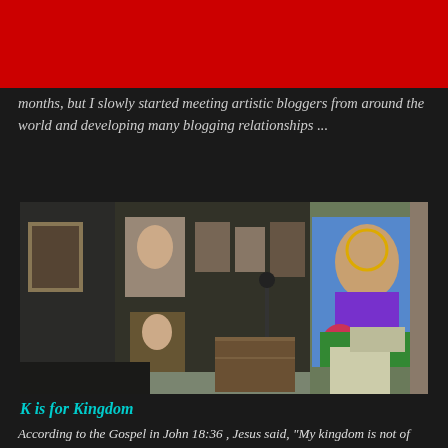months, but I slowly started meeting artistic bloggers from around the world and developing many blogging relationship ...
[Figure (photo): Interior room with religious artwork and paintings on green walls, including a colorful painting of Jesus with roses on the right side]
K is for Kingdom
According to the Gospel in John 18:36 , Jesus said, "My kingdom is not of this world.  If it were, my servants would fight to prevent my arrest by the Jewish leaders.  But now my kingdom is from another place."  I am a servant of the Lord, so I abide in Him